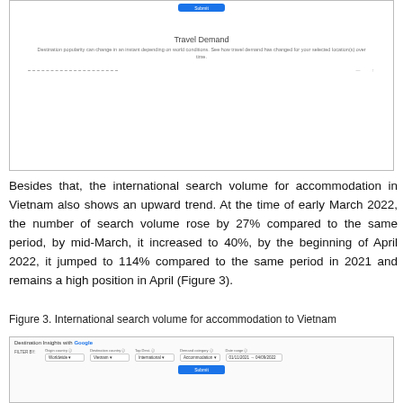[Figure (screenshot): Screenshot of a Travel Demand section from a destination insights web tool. Shows a 'Submit' button at top, a 'Travel Demand' heading, descriptive text about destination popularity changing based on world conditions, and filter/chart UI elements.]
Besides that, the international search volume for accommodation in Vietnam also shows an upward trend. At the time of early March 2022, the number of search volume rose by 27% compared to the same period, by mid-March, it increased to 40%, by the beginning of April 2022, it jumped to 114% compared to the same period in 2021 and remains a high position in April (Figure 3).
Figure 3. International search volume for accommodation to Vietnam
[Figure (screenshot): Screenshot of Destination Insights with Google interface showing filter options: Origin country (Worldwide), Destination country (Vietnam), Top Dest. (International), Demand category (Accommodation), Date range (01/11/2021 to 04/09/2022), and a Submit button.]